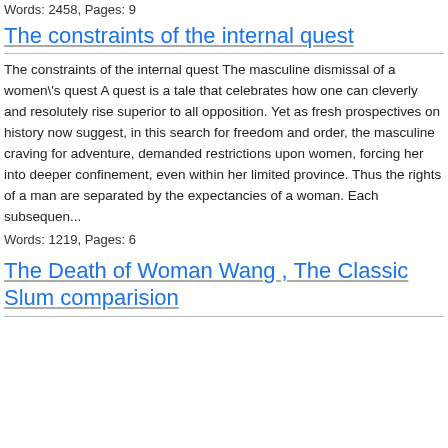Words: 2458, Pages: 9
The constraints of the internal quest
The constraints of the internal quest The masculine dismissal of a women\'s quest A quest is a tale that celebrates how one can cleverly and resolutely rise superior to all opposition. Yet as fresh prospectives on history now suggest, in this search for freedom and order, the masculine craving for adventure, demanded restrictions upon women, forcing her into deeper confinement, even within her limited province. Thus the rights of a man are separated by the expectancies of a woman. Each subsequen...
Words: 1219, Pages: 6
The Death of Woman Wang , The Classic Slum comparision